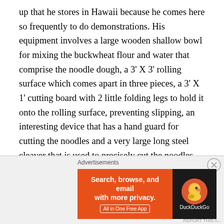up that he stores in Hawaii because he comes here so frequently to do demonstrations. His equipment involves a large wooden shallow bowl for mixing the buckwheat flour and water that comprise the noodle dough, a 3' X 3' rolling surface which comes apart in three pieces, a 3' X 1' cutting board with 2 little folding legs to hold it onto the rolling surface, preventing slipping, an interesting device that has a hand guard for cutting the noodles and a very large long steel cleaver that is used to precisely cut the noodles. His final 2 pieces of equipment are the rolling pins, two long dowels about 1 ½ inches in diameter and 3' long. Each piece of his equipment has a handmade quilted bag to protect it when not in use.
[Figure (screenshot): DuckDuckGo advertisement banner with orange background on left side reading 'Search, browse, and email with more privacy. All in One Free App' and DuckDuckGo logo on dark right side.]